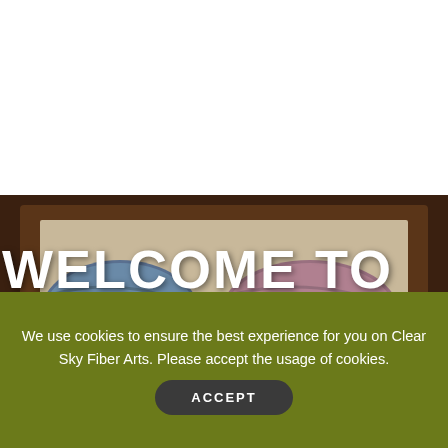[Figure (logo): Clear Sky Fiber Arts logo — dark blue circle with white alpaca silhouette and stars, text 'CLEAR SKY FIBER ARTS' below]
[Figure (other): Hamburger menu icon — three dark blue horizontal bars]
[Figure (other): Purple/magenta search bar with text 'Search']
[Figure (photo): Background photo of yarn skeins in a wooden box, partially overlaid]
WELCOME TO OUR
We use cookies to ensure the best experience for you on Clear Sky Fiber Arts. Please accept the usage of cookies.
ACCEPT